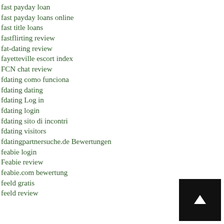fast payday loan
fast payday loans online
fast title loans
fastflirting review
fat-dating review
fayetteville escort index
FCN chat review
fdating como funciona
fdating dating
fdating Log in
fdating login
fdating sito di incontri
fdating visitors
fdatingpartnersuche.de Bewertungen
feabie login
Feabie review
feabie.com bewertung
feeld gratis
feeld review
[Figure (other): Black square button with white upward arrow icon (scroll to top button)]